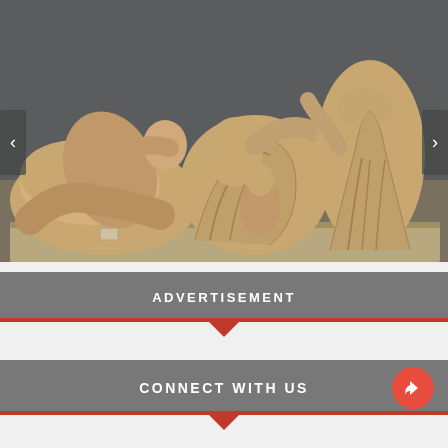[Figure (photo): Museum photograph of ancient Greek marble sculptures (Elgin Marbles / Parthenon sculptures) displayed in a gallery. Three main figures: a reclining male figure on the left, seated draped figures in the center, and a standing draped headless figure on the right. Grey museum wall background.]
ADVERTISEMENT
CONNECT WITH US